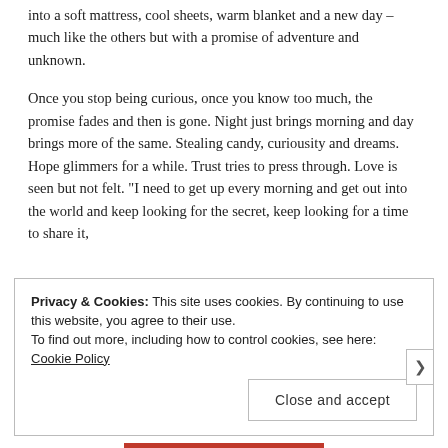into a soft mattress, cool sheets, warm blanket and a new day – much like the others but with a promise of adventure and unknown.
Once you stop being curious, once you know too much, the promise fades and then is gone. Night just brings morning and day brings more of the same. Stealing candy, curiousity and dreams. Hope glimmers for a while. Trust tries to press through. Love is seen but not felt. "I need to get up every morning and get out into the world and keep looking for the secret, keep looking for a time to share it,
Privacy & Cookies: This site uses cookies. By continuing to use this website, you agree to their use. To find out more, including how to control cookies, see here: Cookie Policy
Close and accept